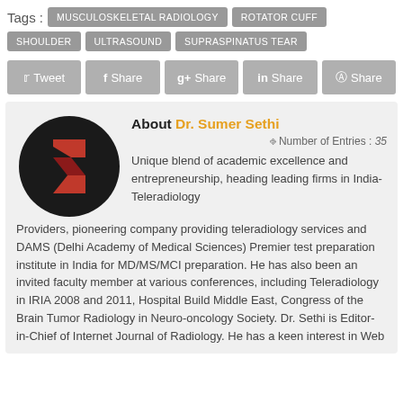Tags : MUSCULOSKELETAL RADIOLOGY  ROTATOR CUFF  SHOULDER  ULTRASOUND  SUPRASPINATUS TEAR
Tweet  Share  Share  Share  Share
[Figure (logo): Black circle with red stylized S logo for Dr. Sumer Sethi]
About Dr. Sumer Sethi
Number of Entries : 35
Unique blend of academic excellence and entrepreneurship, heading leading firms in India- Teleradiology Providers, pioneering company providing teleradiology services and DAMS (Delhi Academy of Medical Sciences) Premier test preparation institute in India for MD/MS/MCI preparation. He has also been an invited faculty member at various conferences, including Teleradiology in IRIA 2008 and 2011, Hospital Build Middle East, Congress of the Brain Tumor Radiology in Neuro-oncology Society. Dr. Sethi is Editor-in-Chief of Internet Journal of Radiology. He has a keen interest in Web